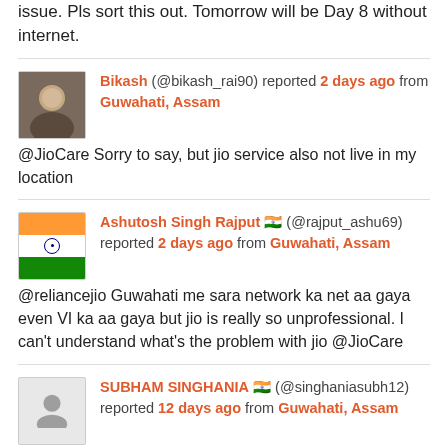issue. Pls sort this out. Tomorrow will be Day 8 without internet.
Bikash (@bikash_rai90) reported 2 days ago from Guwahati, Assam @JioCare Sorry to say, but jio service also not live in my location
Ashutosh Singh Rajput 🇮🇳 (@rajput_ashu69) reported 2 days ago from Guwahati, Assam @reliancejio Guwahati me sara network ka net aa gaya even VI ka aa gaya but jio is really so unprofessional. I can't understand what's the problem with jio @JioCare
SUBHAM SINGHANIA 🇮🇳 (@singhaniasubh12) reported 12 days ago from Guwahati, Assam @connectgurmeet @reliancejio @JioCare also